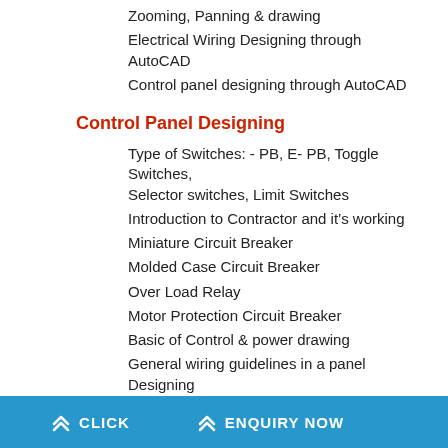Zooming, Panning & drawing
Electrical Wiring Designing through AutoCAD
Control panel designing through AutoCAD
Control Panel Designing
Type of Switches: - PB, E- PB, Toggle Switches, Selector switches, Limit Switches
Introduction to Contractor and it's working
Miniature Circuit Breaker
Molded Case Circuit Breaker
Over Load Relay
Motor Protection Circuit Breaker
Basic of Control & power drawing
General wiring guidelines in a panel Designing
Panel Indicator (Multifunction meter, ammeter, Voltmeter)
CLICK   ENQUIRY NOW